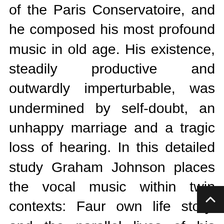of the Paris Conservatoire, and he composed his most profound music in old age. His existence, steadily productive and outwardly imperturbable, was undermined by self-doubt, an unhappy marriage and a tragic loss of hearing. In this detailed study Graham Johnson places the vocal music within twin contexts: Faur own life story, and the parallel lives of his many poets. We encounter such giants as Charles Baudelaire and Paul Verlaine, the patrician Leconte de Lisle, the forgotten Armand Silvestre and the Belgian symbolist Charles Van Lerberghe. The chronological range the narrative encompasses Faur first poet, Victor Hugo, who railed against Napoleon